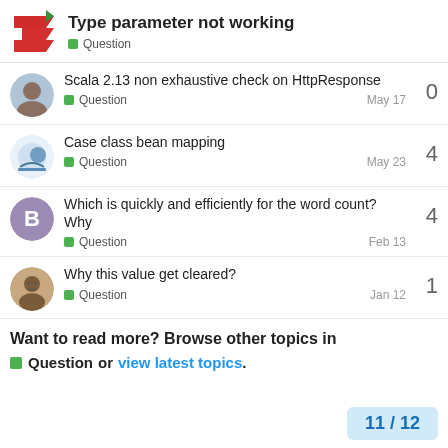Type parameter not working
Question
Scala 2.13 non exhaustive check on HttpResponse
Question
May 17
0
Case class bean mapping
Question
May 23
4
Which is quickly and efficiently for the word count? Why
Question
Feb 13
4
Why this value get cleared?
Question
Jan 12
1
Want to read more? Browse other topics in Question or view latest topics.
11 / 12